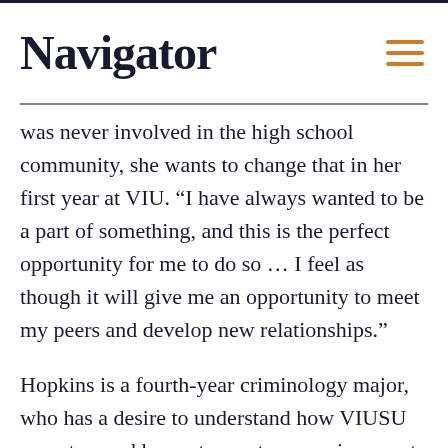Navigator
was never involved in the high school community, she wants to change that in her first year at VIU. “I have always wanted to be a part of something, and this is the perfect opportunity for me to do so … I feel as though it will give me an opportunity to meet my peers and develop new relationships.”
Hopkins is a fourth-year criminology major, who has a desire to understand how VIUSU operates, and hopes to create an environment that allows students to feel welcome and comfortable. “For the past three years VIU has